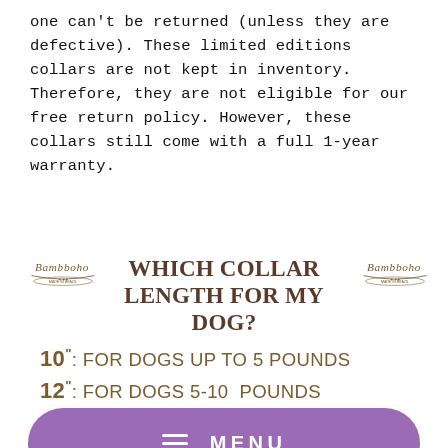one can't be returned (unless they are defective). These limited editions collars are not kept in inventory. Therefore, they are not eligible for our free return policy. However, these collars still come with a full 1-year warranty.
[Figure (infographic): Bambboho Made in Brazil logo (left and right), large bold serif title 'WHICH COLLAR LENGTH FOR MY DOG?' in dark brown, followed by collar size guide: 10": FOR DOGS UP TO 5 POUNDS, 12": FOR DOGS 5-10 POUNDS, (MENU bar overlay), 18": FOR DOGS 40-50 POUNDS]